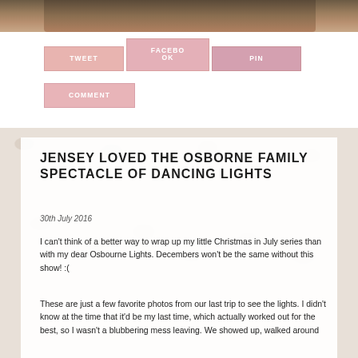[Figure (photo): Top portion of a photo showing a person outdoors among trees]
TWEET
FACEBOOK
PIN
COMMENT
JENSEY LOVED THE OSBORNE FAMILY SPECTACLE OF DANCING LIGHTS
30th July 2016
I can't think of a better way to wrap up my little Christmas in July series than with my dear Osbourne Lights. Decembers won't be the same without this show! :(
These are just a few favorite photos from our last trip to see the lights. I didn't know at the time that it'd be my last time, which actually worked out for the best, so I wasn't a blubbering mess leaving. We showed up, walked around